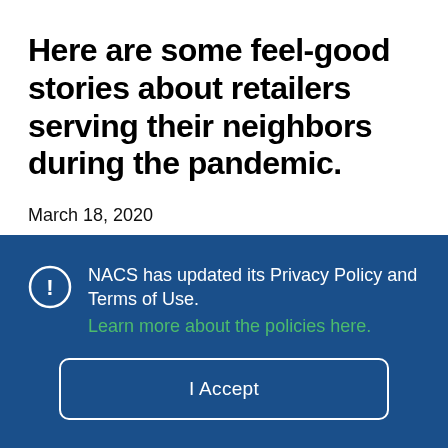Here are some feel-good stories about retailers serving their neighbors during the pandemic.
March 18, 2020
NACS has updated its Privacy Policy and Terms of Use. Learn more about the policies here.
I Accept